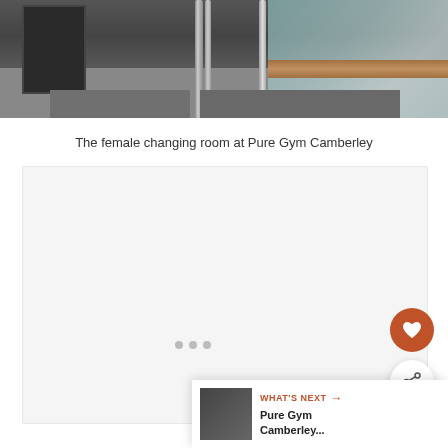[Figure (photo): Interior photo of the female changing room at Pure Gym Camberley, showing glass panels, vertical poles, dark flooring, and wood paneling]
The female changing room at Pure Gym Camberley
[Figure (photo): Second photo area, content loading (shown with loading indicator dots)]
[Figure (other): What's Next panel with thumbnail of Pure Gym Camberley, favorite button (heart icon), and share button]